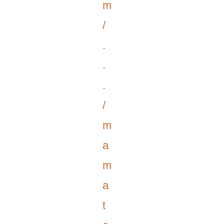m / . . . / m a m a t a - b a n r e j